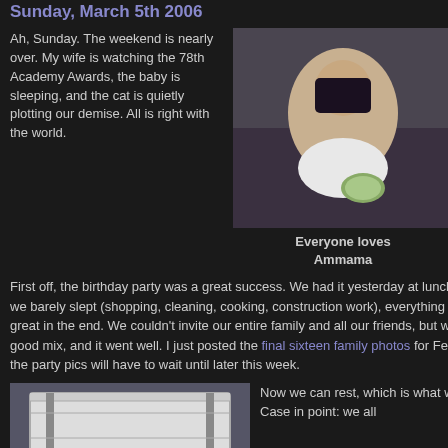Sunday, March 5th 2006
Ah, Sunday. The weekend is nearly over. My wife is watching the 78th Academy Awards, the baby is sleeping, and the cat is quietly plotting our demise. All is right with the world.
[Figure (photo): Woman holding a baby, both sitting together]
Everyone loves Ammama
First off, the birthday party was a great success. We had it yesterday at lunch, and while we barely slept (shopping, cleaning, cooking, construction work), everything worked out great in the end. We couldn't invite our entire family and all our friends, but we had a good mix, and it went well. I just posted the final sixteen family photos for February, so the party pics will have to wait until later this week.
[Figure (photo): A white crib or baby furniture item]
Now we can rest, which is what we did today. Case in point: we all